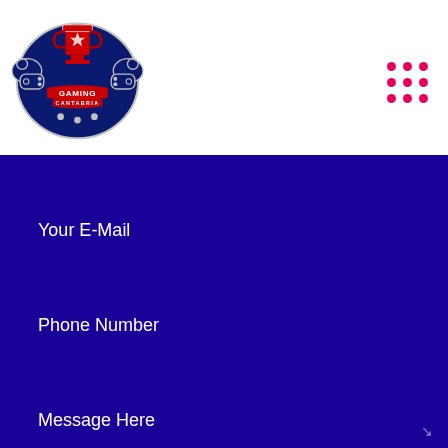[Figure (logo): Gaming Cantabria logo — shield with trophy, gaming controllers, red and navy blue colors, text reads GAMING CANTABRIA]
Your E-Mail
Phone Number
Message Here